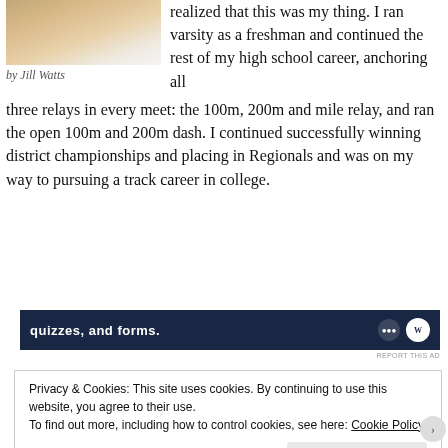[Figure (photo): Photo of a person, partially visible at top of page]
by Jill Watts
realized that this was my thing. I ran varsity as a freshman and continued the rest of my high school career, anchoring all three relays in every meet: the 100m, 200m and mile relay, and ran the open 100m and 200m dash. I continued successfully winning district championships and placing in Regionals and was on my way to pursuing a track career in college.
[Figure (screenshot): Advertisement banner with dark navy background showing text 'quizzes, and forms.' with logo]
REPORT THIS AD
Privacy & Cookies: This site uses cookies. By continuing to use this website, you agree to their use.
To find out more, including how to control cookies, see here: Cookie Policy
Close and accept